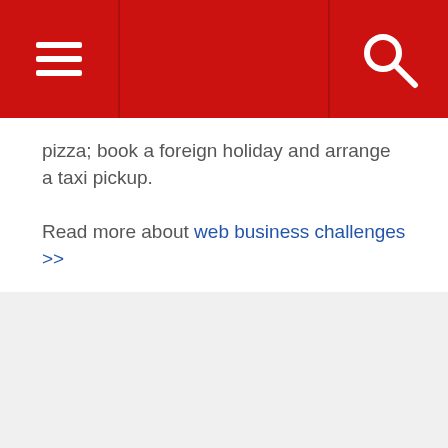[Navigation header with hamburger menu and search icon]
pizza; book a foreign holiday and arrange a taxi pickup.
Read more about web business challenges >>